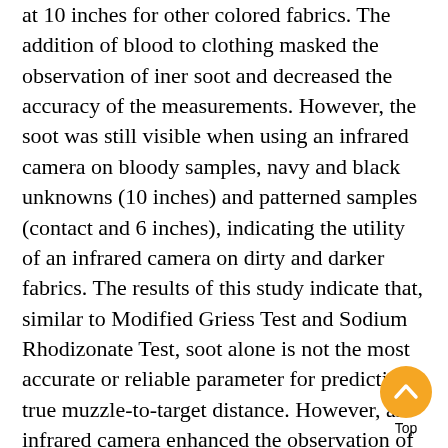at 10 inches for other colored fabrics. The addition of blood to clothing masked the observation of iner soot and decreased the accuracy of the measurements. However, the soot was still visible when using an infrared camera on bloody samples, navy and black unknowns (10 inches) and patterned samples (contact and 6 inches), indicating the utility of an infrared camera on dirty and darker fabrics. The results of this study indicate that, similar to Modified Griess Test and Sodium Rhodizonate Test, soot alone is not the most accurate or reliable parameter for predicting true muzzle-to-target distance. However, an infrared camera enhanced the observation of presence of gunshot residues not easily visible to the naked eye on dark, patterned and bloody samples. Thus, the proposed application of infrared imaging can eas… utilized as a complementary approach in the pred…